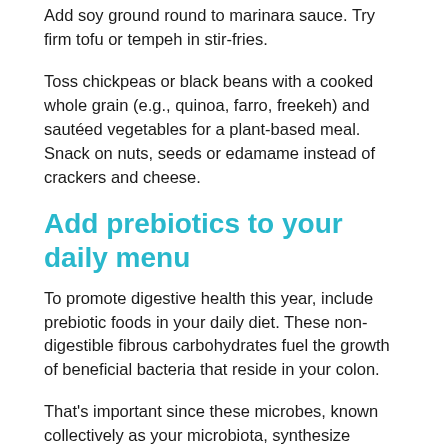Add soy ground round to marinara sauce. Try firm tofu or tempeh in stir-fries.
Toss chickpeas or black beans with a cooked whole grain (e.g., quinoa, farro, freekeh) and sautéed vegetables for a plant-based meal. Snack on nuts, seeds or edamame instead of crackers and cheese.
Add prebiotics to your daily menu
To promote digestive health this year, include prebiotic foods in your daily diet. These non-digestible fibrous carbohydrates fuel the growth of beneficial bacteria that reside in your colon.
That's important since these microbes, known collectively as your microbiota, synthesize certain vitamins, activate disease-fighting phytochemicals, regulate immune function, and protect the lining of the gut. Your gut microbiota is also thought to play a role in inflammatory bowel disease, mental health, weight control, even food cravings.